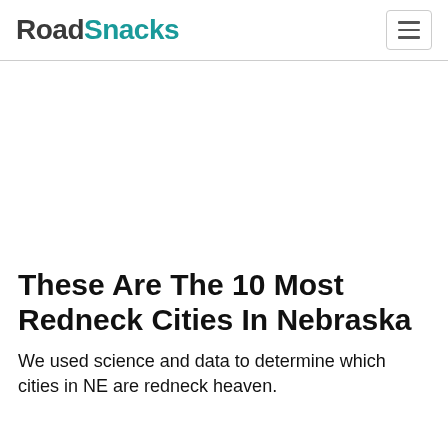RoadSnacks
[Figure (other): Advertisement/empty white space area below the header]
These Are The 10 Most Redneck Cities In Nebraska
We used science and data to determine which cities in NE are redneck heaven.